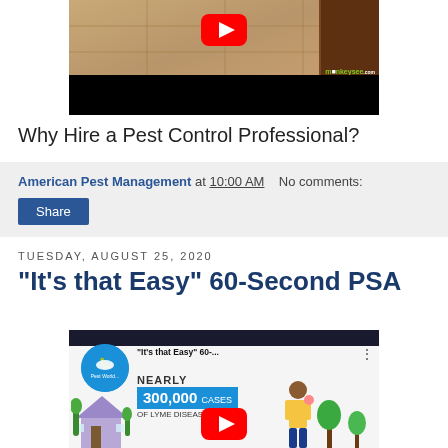[Figure (screenshot): YouTube video thumbnail showing a kitchen floor with tiles and dark wood cabinets, with a YouTube play button overlay and monkeysee.com logo watermark, black bar at bottom]
Why Hire a Pest Control Professional?
American Pest Management at 10:00 AM    No comments:
Share
Tuesday, August 25, 2020
"It's that Easy" 60-Second PSA
[Figure (screenshot): YouTube video thumbnail for 'It's that Easy' 60-Second PSA showing Pest World logo, text reading NEARLY 300,000 CASES OF LYME DISEASE, animated house and character graphics, with YouTube play button overlay]